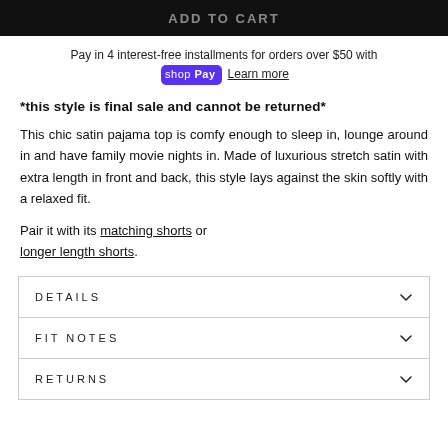[Figure (other): Black bar at top of page with partially visible white text]
Pay in 4 interest-free installments for orders over $50 with shop Pay Learn more
*this style is final sale and cannot be returned*
This chic satin pajama top is comfy enough to sleep in, lounge around in and have family movie nights in. Made of luxurious stretch satin with extra length in front and back, this style lays against the skin softly with a relaxed fit.
Pair it with its matching shorts or longer length shorts.
DETAILS
FIT NOTES
RETURNS